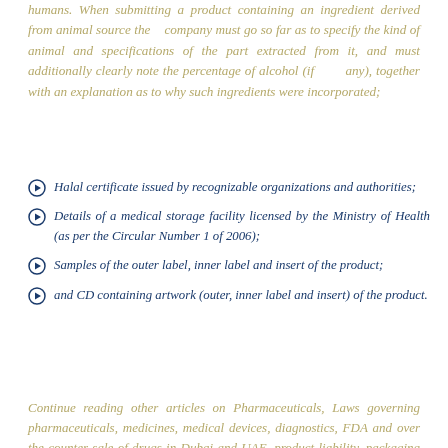humans. When submitting a product containing an ingredient derived from animal source the company must go so far as to specify the kind of animal and specifications of the part extracted from it, and must additionally clearly note the percentage of alcohol (if any), together with an explanation as to why such ingredients were incorporated;
Halal certificate issued by recognizable organizations and authorities;
Details of a medical storage facility licensed by the Ministry of Health (as per the Circular Number 1 of 2006);
Samples of the outer label, inner label and insert of the product;
and CD containing artwork (outer, inner label and insert) of the product.
Continue reading other articles on Pharmaceuticals, Laws governing pharmaceuticals, medicines, medical devices, diagnostics, FDA and over the counter sale of drugs in Dubai and UAE, product liability, packaging and labeling